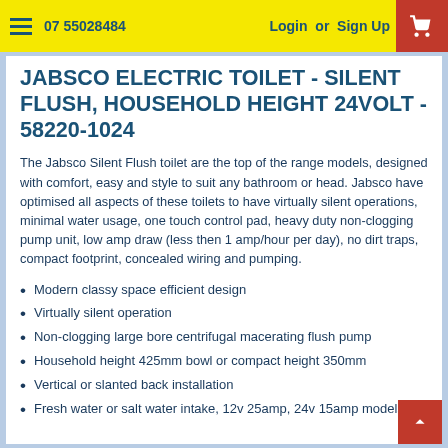07 55028484   Login or Sign Up
JABSCO ELECTRIC TOILET - SILENT FLUSH, HOUSEHOLD HEIGHT 24VOLT - 58220-1024
The Jabsco Silent Flush toilet are the top of the range models, designed with comfort, easy and style to suit any bathroom or head. Jabsco have optimised all aspects of these toilets to have virtually silent operations, minimal water usage, one touch control pad, heavy duty non-clogging pump unit, low amp draw (less then 1 amp/hour per day), no dirt traps, compact footprint, concealed wiring and pumping.
Modern classy space efficient design
Virtually silent operation
Non-clogging large bore centrifugal macerating flush pump
Household height 425mm bowl or compact height 350mm
Vertical or slanted back installation
Fresh water or salt water intake, 12v 25amp, 24v 15amp models